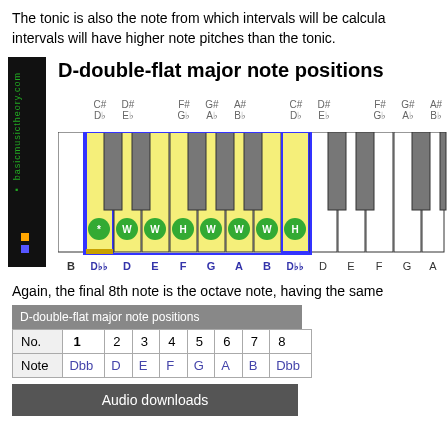The tonic is also the note from which intervals will be calculated. intervals will have higher note pitches than the tonic.
[Figure (illustration): Piano keyboard diagram showing D-double-flat major note positions with yellow highlighted keys, green circle interval labels (*, W, W, H, W, W, W, H), blue border around the scale octave, and note names below keys (B, Dbb, D, E, F, G, A, B, Dbb, D, E, F, G, A, B). Sharp note labels above (C#/Db, D#/Eb, F#/Gb, G#/Ab, A#/Bb repeated).]
Again, the final 8th note is the octave note, having the same
| D-double-flat major note positions |
| --- |
| No. | 1 | 2 | 3 | 4 | 5 | 6 | 7 | 8 |
| Note | Dbb | D | E | F | G | A | B | Dbb |
Audio downloads